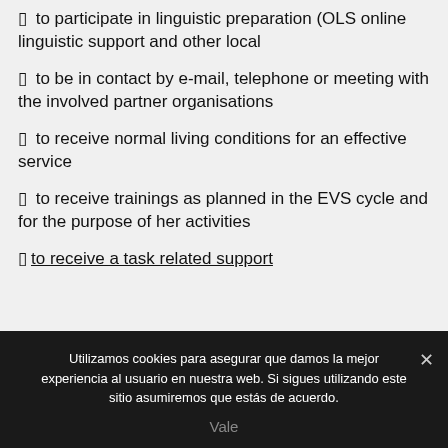⁃ to participate in linguistic preparation (OLS online linguistic support and other local
⁃ to be in contact by e-mail, telephone or meeting with the involved partner organisations
⁃ to receive normal living conditions for an effective service
⁃ to receive trainings as planned in the EVS cycle and for the purpose of her activities
⁃ to receive a task related support
Utilizamos cookies para asegurar que damos la mejor experiencia al usuario en nuestra web. Si sigues utilizando este sitio asumiremos que estás de acuerdo.
Vale